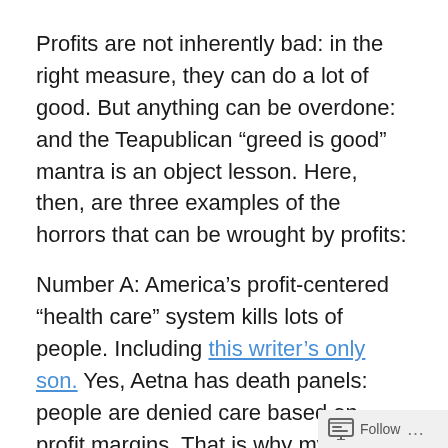Profits are not inherently bad: in the right measure, they can do a lot of good. But anything can be overdone: and the Teapublican “greed is good” mantra is an object lesson. Here, then, are three examples of the horrors that can be wrought by profits:
Number A: America’s profit-centered “health care” system kills lots of people. Including this writer’s only son. Yes, Aetna has death panels: people are denied care based on profit margins. That is why my son was kicked out of the hospital just a few hours after awakening from a coma. PROFITS CAN AND DO KILL. PROFITS KILLED MY KID.
Letter 2: American industry is constantly pushing for less (or no) regulation, in order to increase profit. Thence came disasters such as massive oil spills, poisoned rivers and
Follow ...